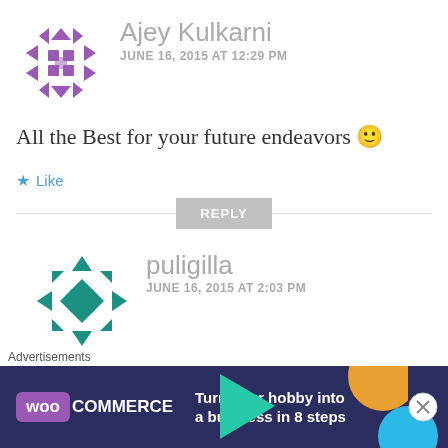[Figure (illustration): Purple geometric avatar icon for user Ajey Kulkarni]
Ajey Kulkarni
JUNE 16, 2015 AT 12:29 PM
All the Best for your future endeavors 🙂
★ Like
REPLY
[Figure (illustration): Teal geometric avatar icon for user puligilla]
puligilla
JUNE 16, 2015 AT 2:03 PM
Advertisements
[Figure (screenshot): WooCommerce advertisement banner: Turn your hobby into a business in 8 steps]